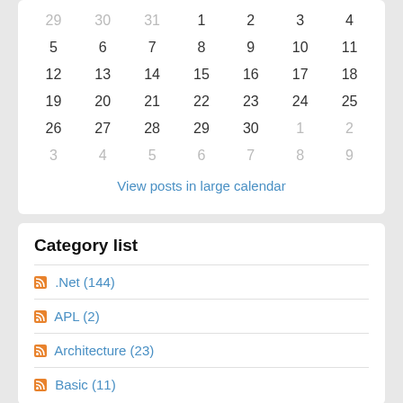[Figure (other): Calendar grid showing days with out-of-month dates grayed out. Rows: 29-30-31-1-2-3-4, 5-6-7-8-9-10-11, 12-13-14-15-16-17-18, 19-20-21-22-23-24-25, 26-27-28-29-30-1-2, 3-4-5-6-7-8-9]
View posts in large calendar
Category list
.Net (144)
APL (2)
Architecture (23)
Basic (11)